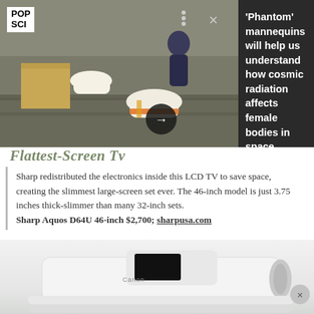[Figure (photo): Pop Sci notification banner showing mannequins/phantom bodies being loaded, with dark overlay and article preview]
'Phantom' mannequins will help us understand how cosmic radiation affects female bodies in space
Flattest-Screen Tv
Sharp redistributed the electronics inside this LCD TV to save space, creating the slimmest large-screen set ever. The 46-inch model is just 3.75 inches thick-slimmer than many 32-inch sets. Sharp Aquos D64U 46-inch $2,700; sharpusa.com
[Figure (photo): Canon printer product photo — white compact printer on white surface]